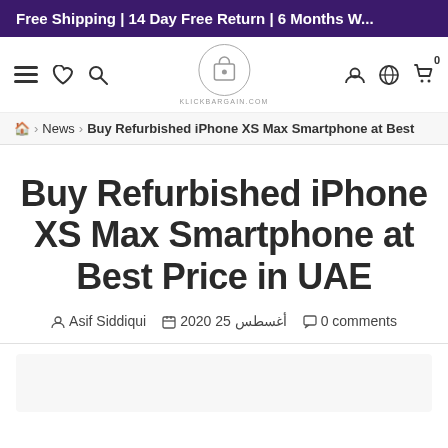Free Shipping | 14 Day Free Return | 6 Months W...
[Figure (logo): KlickBargain.com logo inside a circle, with navigation icons (hamburger, heart, search on left; user, globe, cart on right)]
🏠 › News › Buy Refurbished iPhone XS Max Smartphone at Best
Buy Refurbished iPhone XS Max Smartphone at Best Price in UAE
Asif Siddiqui   أغسطس 25 2020   0 comments